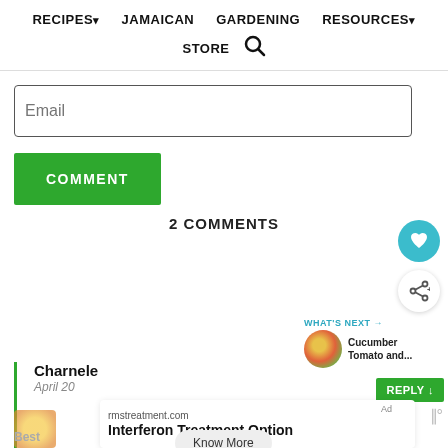RECIPES▾  JAMAICAN  GARDENING  RESOURCES▾  STORE 🔍
[Figure (screenshot): Email input field with placeholder text 'Email']
COMMENT
[Figure (other): Teal heart icon floating action button]
[Figure (other): Share icon floating action button]
2 COMMENTS
[Figure (other): WHAT'S NEXT → Cucumber Tomato and... with circular food image]
Charnele
April 20
REPLY ↓
[Figure (screenshot): Ad overlay: rmstreatment.com - Interferon Treatment Option with Know More button]